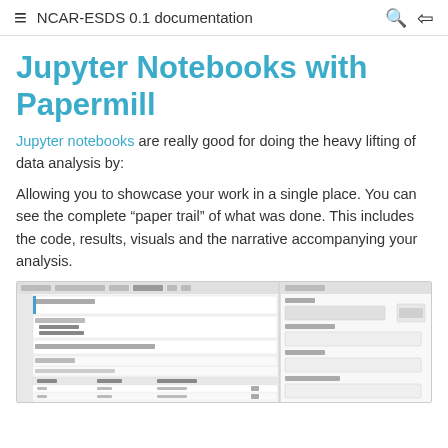NCAR-ESDS 0.1 documentation
Jupyter Notebooks with Papermill
Jupyter notebooks are really good for doing the heavy lifting of data analysis by:
Allowing you to showcase your work in a single place. You can see the complete “paper trail” of what was done. This includes the code, results, visuals and the narrative accompanying your analysis.
[Figure (screenshot): Screenshot of a Jupyter notebook interface showing code cells with Python imports and data analysis output including a table, alongside a sidebar panel on the right.]